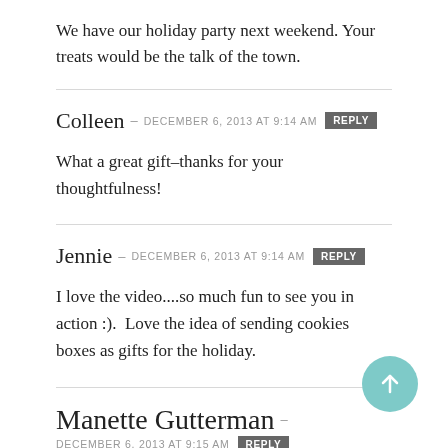We have our holiday party next weekend. Your treats would be the talk of the town.
Colleen — DECEMBER 6, 2013 at 9:14 AM  [REPLY]
What a great gift–thanks for your thoughtfulness!
Jennie — DECEMBER 6, 2013 at 9:14 AM  [REPLY]
I love the video....so much fun to see you in action :). Love the idea of sending cookies boxes as gifts for the holiday.
Manette Gutterman — DECEMBER 6, 2013 at 9:15 AM  [REPLY]